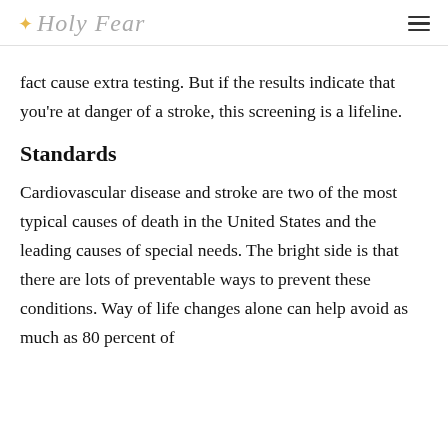✦ Holy Fear
fact cause extra testing. But if the results indicate that you're at danger of a stroke, this screening is a lifeline.
Standards
Cardiovascular disease and stroke are two of the most typical causes of death in the United States and the leading causes of special needs. The bright side is that there are lots of preventable ways to prevent these conditions. Way of life changes alone can help avoid as much as 80 percent of